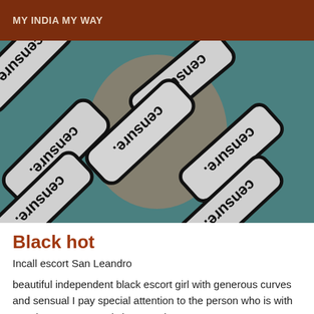MY INDIA MY WAY
[Figure (photo): Censored image with multiple overlapping rounded rectangle signs reading 'censure' in rotated orientations, covering a photo of a person]
Black hot
Incall escort San Leandro
beautiful independent black escort girl with generous curves and sensual I pay special attention to the person who is with me I love to meet and share tender moments